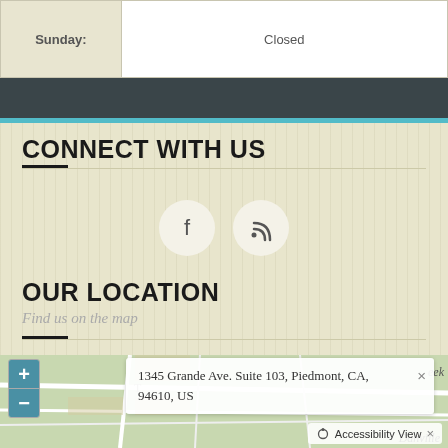| Day | Hours |
| --- | --- |
| Sunday: | Closed |
CONNECT WITH US
[Figure (other): Facebook and RSS social media icon buttons (circular white icons with f and wifi/RSS symbols)]
OUR LOCATION
Find us on the map
[Figure (map): Interactive map showing location at 1345 Grande Ave. Suite 103, Piedmont, CA, 94610, US with zoom +/- controls and Accessibility View button]